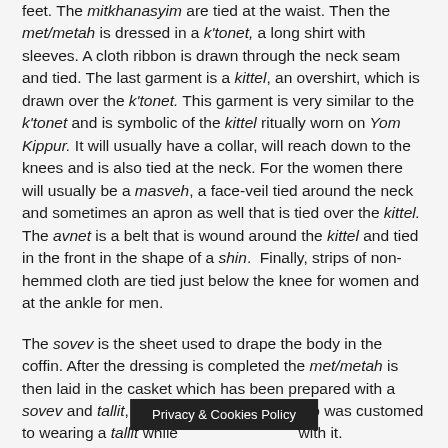feet. The mitkhanasyim are tied at the waist. Then the met/metah is dressed in a k'tonet, a long shirt with sleeves. A cloth ribbon is drawn through the neck seam and tied. The last garment is a kittel, an overshirt, which is drawn over the k'tonet. This garment is very similar to the k'tonet and is symbolic of the kittel ritually worn on Yom Kippur. It will usually have a collar, will reach down to the knees and is also tied at the neck. For the women there will usually be a masveh, a face-veil tied around the neck and sometimes an apron as well that is tied over the kittel. The avnet is a belt that is wound around the kittel and tied in the front in the shape of a shin. Finally, strips of non-hemmed cloth are tied just below the knee for women and at the ankle for men.
The sovev is the sheet used to drape the body in the coffin. After the dressing is completed the met/metah is then laid in the casket which has been prepared with a sovev and tallit, prayer-shawl. The one who was accustomed to wearing a tallit while [text obscured] with it.